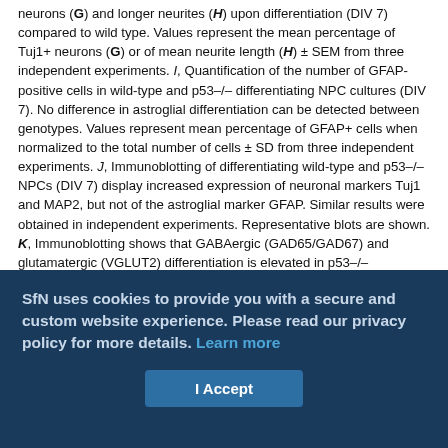neurons (G) and longer neurites (H) upon differentiation (DIV 7) compared to wild type. Values represent the mean percentage of Tuj1+ neurons (G) or of mean neurite length (H) ± SEM from three independent experiments. I, Quantification of the number of GFAP-positive cells in wild-type and p53–/– differentiating NPC cultures (DIV 7). No difference in astroglial differentiation can be detected between genotypes. Values represent mean percentage of GFAP+ cells when normalized to the total number of cells ± SD from three independent experiments. J, Immunoblotting of differentiating wild-type and p53–/– NPCs (DIV 7) display increased expression of neuronal markers Tuj1 and MAP2, but not of the astroglial marker GFAP. Similar results were obtained in independent experiments. Representative blots are shown. K, Immunoblotting shows that GABAergic (GAD65/GAD67) and glutamatergic (VGLUT2) differentiation is elevated in p53–/– differentiating NPC cultures (DIV 7). Similar results were obtained in independent experiments. Representative blots are shown. L, Immunoblotting of prenatal and postnatal telencephalic lysates for marker proteins as indicated. Three telencephalons were used per developmental stage and genotype. Representative blots and bar graphs with quantitation are shown. *p < 0.05; **p < 0.01; ***p < 0.001 (two-tail Student's t test). Scale bars: A, 100 μm; F, 50 μm.
SfN uses cookies to provide you with a secure and custom website experience. Please read our privacy policy for more details. Learn more